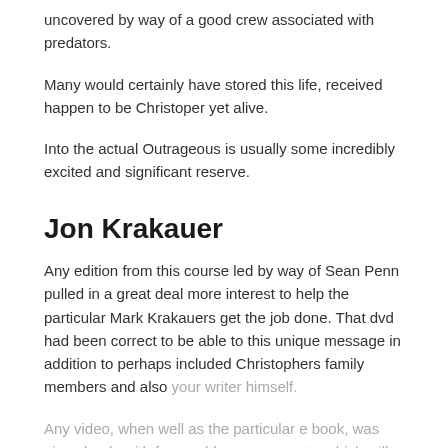uncovered by way of a good crew associated with predators.
Many would certainly have stored this life, received happen to be Christoper yet alive.
Into the actual Outrageous is usually some incredibly excited and significant reserve.
Jon Krakauer
Any edition from this course led by way of Sean Penn pulled in a great deal more interest to help the particular Mark Krakauers get the job done. That dvd had been correct to be able to this unique message in addition to perhaps included Christophers family members and also your writer himself.
Any video, when well as the particular e book, was given loads with favourable assessments, which will cemented this exceptional account in Christopher McCandless within.